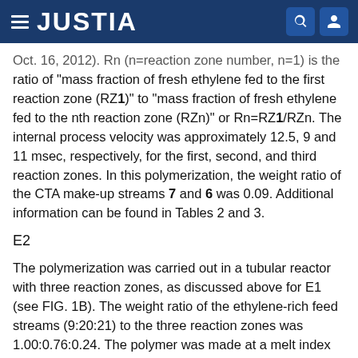JUSTIA
Oct. 16, 2012). Rn (n=reaction zone number, n=1) is the ratio of “mass fraction of fresh ethylene fed to the first reaction zone (RZ1)” to “mass fraction of fresh ethylene fed to the nth reaction zone (RZn)” or Rn=RZ1/RZn. The internal process velocity was approximately 12.5, 9 and 11 msec, respectively, for the first, second, and third reaction zones. In this polymerization, the weight ratio of the CTA make-up streams 7 and 6 was 0.09. Additional information can be found in Tables 2 and 3.
E2
The polymerization was carried out in a tubular reactor with three reaction zones, as discussed above for E1 (see FIG. 1B). The weight ratio of the ethylene-rich feed streams (9:20:21) to the three reaction zones was 1.00:0.76:0.24. The polymer was made at a melt index of 0.58 g/10 min. The R2 and R3 values each approached